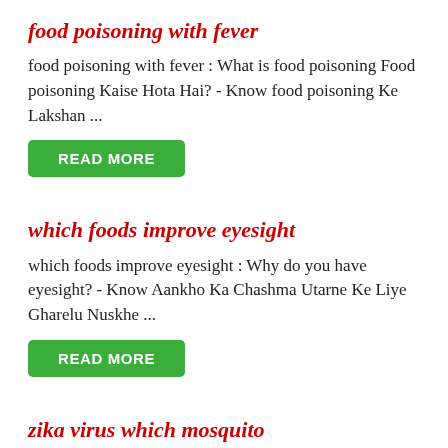food poisoning with fever
food poisoning with fever : What is food poisoning Food poisoning Kaise Hota Hai? - Know food poisoning Ke Lakshan ...
READ MORE
which foods improve eyesight
which foods improve eyesight : Why do you have eyesight? - Know Aankho Ka Chashma Utarne Ke Liye Gharelu Nuskhe ...
READ MORE
zika virus which mosquito
zika virus which mosquito : What is Zika virus? To whom does the zika virus fail? - Learn Zika Virus ...
READ MORE